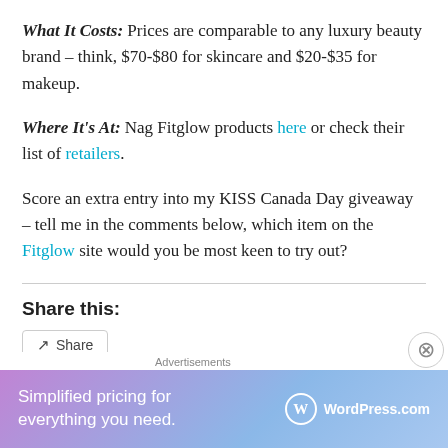What It Costs: Prices are comparable to any luxury beauty brand – think, $70-$80 for skincare and $20-$35 for makeup.
Where It's At: Nag Fitglow products here or check their list of retailers.
Score an extra entry into my KISS Canada Day giveaway – tell me in the comments below, which item on the Fitglow site would you be most keen to try out?
Share this:
[Figure (screenshot): Share button widget]
[Figure (infographic): WordPress.com advertisement banner: 'Simplified pricing for everything you need.' with WordPress.com logo]